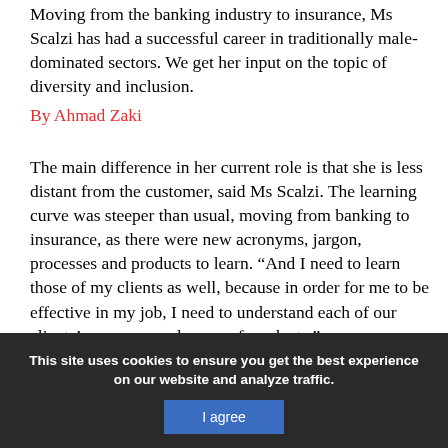Moving from the banking industry to insurance, Ms Scalzi has had a successful career in traditionally male-dominated sectors. We get her input on the topic of diversity and inclusion.
By Ahmad Zaki
The main difference in her current role is that she is less distant from the customer, said Ms Scalzi. The learning curve was steeper than usual, moving from banking to insurance, as there were new acronyms, jargon, processes and products to learn. “And I need to learn those of my clients as well, because in order for me to be effective in my job, I need to understand each of our clients’ processes and range of products.”
This site uses cookies to ensure you get the best experience on our website and analyze traffic.